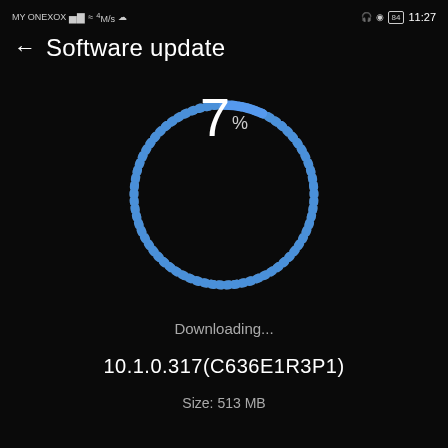MY ONEXOX   4 M/s   84  11:27
← Software update
[Figure (other): Circular progress spinner showing 7% download progress. The ring is made of small dashes, with a blue highlighted segment at the top indicating progress. Center shows '7 %' in large white text.]
Downloading...
10.1.0.317(C636E1R3P1)
Size: 513 MB